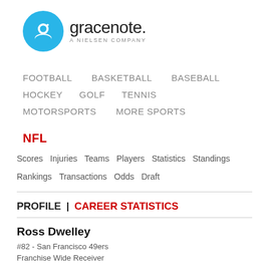[Figure (logo): Gracenote logo: blue circle with white 'g' icon on the left, 'gracenote.' wordmark in dark gray, 'A NIELSEN COMPANY' subtitle below in gray]
FOOTBALL   BASKETBALL   BASEBALL
HOCKEY   GOLF   TENNIS
MOTORSPORTS   MORE SPORTS
NFL
Scores   Injuries   Teams   Players   Statistics   Standings
Rankings   Transactions   Odds   Draft
PROFILE | CAREER STATISTICS
Ross Dwelley
#82 - San Francisco 49ers
Franchise Wide Receiver